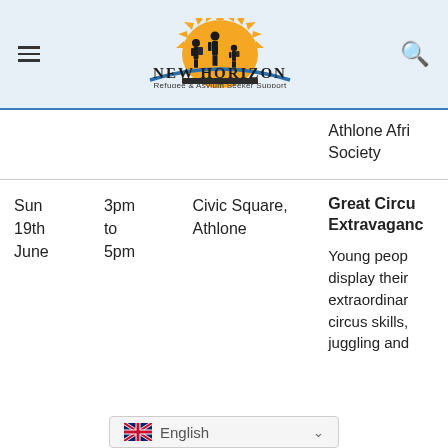[Figure (logo): New Horizon Refugee & Asylum Seeker Support logo with silhouettes of people walking against a sunburst, and a blue arc beneath]
| Date | Time | Place | Event |
| --- | --- | --- | --- |
|  |  |  | Athlone Afri Society |
| Sun 19th June | 3pm to 5pm | Civic Square, Athlone | Great Circu Extravaganc — Young peop display their extraordinar circus skills, juggling and ... |